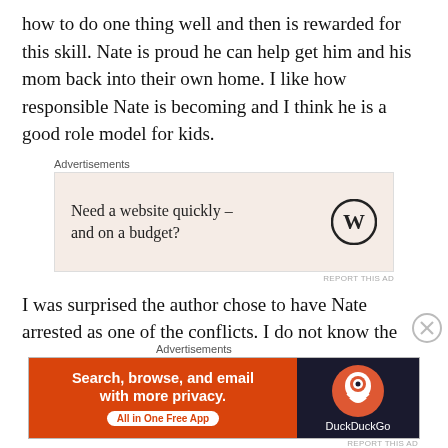how to do one thing well and then is rewarded for this skill. Nate is proud he can help get him and his mom back into their own home. I like how responsible Nate is becoming and I think he is a good role model for kids.
[Figure (infographic): WordPress advertisement: 'Need a website quickly – and on a budget?' with WordPress logo on beige background]
I was surprised the author chose to have Nate arrested as one of the conflicts. I do not know the skateboarding world where even scooters are used because they are a great way to travel; but this seemed stereotypical: inner city kids, out late at night, must be causing trouble. This
[Figure (infographic): DuckDuckGo advertisement: 'Search, browse, and email with more privacy. All in One Free App' with DuckDuckGo logo on dark background]